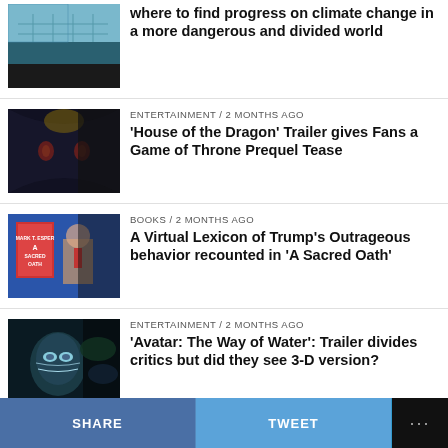where to find progress on climate change in a more dangerous and divided world
ENTERTAINMENT / 2 months ago
'House of the Dragon' Trailer gives Fans a Game of Throne Prequel Tease
BOOKS / 2 months ago
A Virtual Lexicon of Trump’s Outrageous behavior recounted in ‘A Sacred Oath’
ENTERTAINMENT / 2 months ago
'Avatar: The Way of Water': Trailer divides critics but did they see 3-D version?
NEWS / 2 months ago
How Roe v. Wade changed the lives of American women
SHARE   TWEET   ...